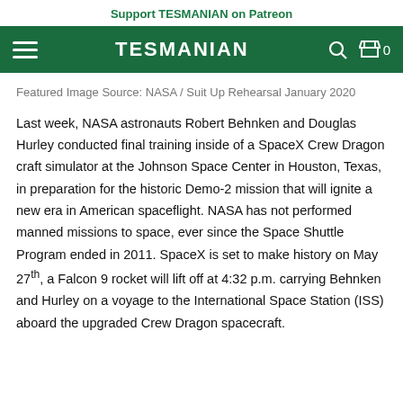Support TESMANIAN on Patreon
TESMANIAN
Featured Image Source: NASA / Suit Up Rehearsal January 2020
Last week, NASA astronauts Robert Behnken and Douglas Hurley conducted final training inside of a SpaceX Crew Dragon craft simulator at the Johnson Space Center in Houston, Texas, in preparation for the historic Demo-2 mission that will ignite a new era in American spaceflight. NASA has not performed manned missions to space, ever since the Space Shuttle Program ended in 2011. SpaceX is set to make history on May 27th, a Falcon 9 rocket will lift off at 4:32 p.m. carrying Behnken and Hurley on a voyage to the International Space Station (ISS) aboard the upgraded Crew Dragon spacecraft.